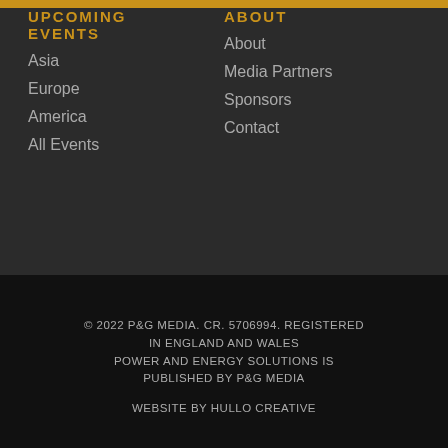UPCOMING EVENTS
Asia
Europe
America
All Events
ABOUT
About
Media Partners
Sponsors
Contact
© 2022 P&G MEDIA. CR. 5706994. REGISTERED IN ENGLAND AND WALES POWER AND ENERGY SOLUTIONS IS PUBLISHED BY P&G MEDIA WEBSITE BY HULLO CREATIVE